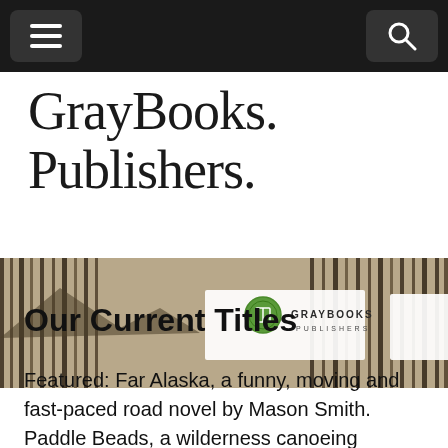Navigation bar with menu and search buttons
GrayBooks. Publishers.
[Figure (photo): Banner image of a forest of birch/pine trees in sepia tone with the GrayBooks Publishers logo (green circular icon) and text overlay in the center]
Our Current Titles
Featured: Far Alaska, a funny, moving and fast-paced road novel by Mason Smith. Paddle Beads, a wilderness canoeing memoir by O. Ross McIntyre. A great read. Available now. The